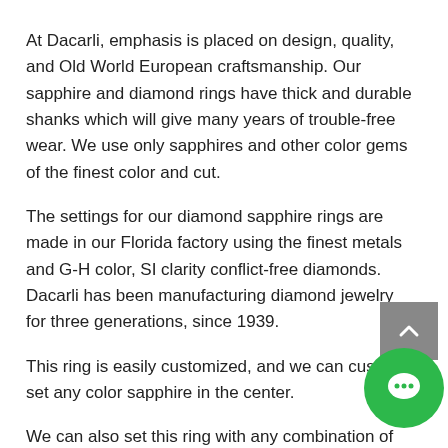At Dacarli, emphasis is placed on design, quality, and Old World European craftsmanship. Our sapphire and diamond rings have thick and durable shanks which will give many years of trouble-free wear. We use only sapphires and other color gems of the finest color and cut.
The settings for our diamond sapphire rings are made in our Florida factory using the finest metals and G-H color, SI clarity conflict-free diamonds. Dacarli has been manufacturing diamond jewelry for three generations, since 1939.
This ring is easily customized, and we can custom set any color sapphire in the center.
We can also set this ring with any combination of diamonds and any color accent sapphires.
Special order in 18K white or yellow gold or Platinum.